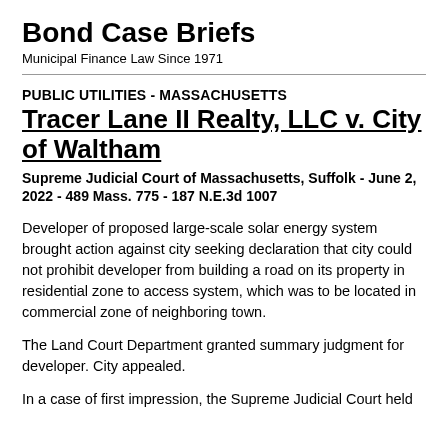Bond Case Briefs
Municipal Finance Law Since 1971
PUBLIC UTILITIES - MASSACHUSETTS
Tracer Lane II Realty, LLC v. City of Waltham
Supreme Judicial Court of Massachusetts, Suffolk - June 2, 2022 - 489 Mass. 775 - 187 N.E.3d 1007
Developer of proposed large-scale solar energy system brought action against city seeking declaration that city could not prohibit developer from building a road on its property in residential zone to access system, which was to be located in commercial zone of neighboring town.
The Land Court Department granted summary judgment for developer. City appealed.
In a case of first impression, the Supreme Judicial Court held